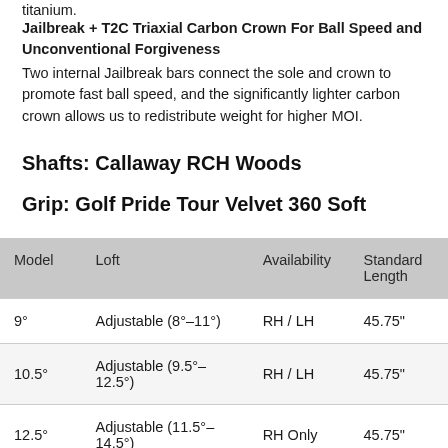titanium.
Jailbreak + T2C Triaxial Carbon Crown For Ball Speed and Unconventional Forgiveness
Two internal Jailbreak bars connect the sole and crown to promote fast ball speed, and the significantly lighter carbon crown allows us to redistribute weight for higher MOI.
Shafts: Callaway RCH Woods
Grip: Golf Pride Tour Velvet 360 Soft
| Model | Loft | Availability | Standard Length |
| --- | --- | --- | --- |
| 9° | Adjustable (8°–11°) | RH / LH | 45.75" |
| 10.5° | Adjustable (9.5°–12.5°) | RH / LH | 45.75" |
| 12.5° | Adjustable (11.5°–14.5°) | RH Only | 45.75" |